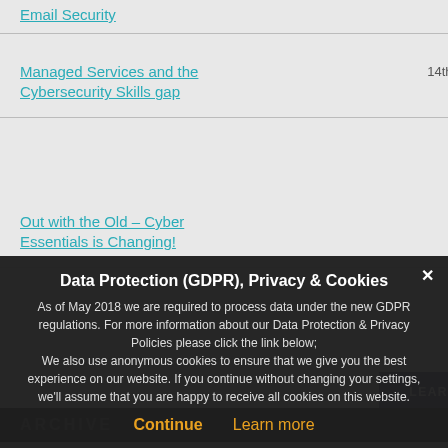Email Security
Managed Services and the Cybersecurity Skills gap — 14th October 2019
Out with the Old – Cyber Essentials is Changing! — 3rd July 2019
LEARN MORE
ARCHIVE
released today in ... Intelligence, it look... and the attack actu...
Despite all of the s... assume, a large p... to investigate, whi... can be.
We spoke in our p... and why it's import... increase operation...
We spoke about p... information or busi... however in this ina...
Data Protection (GDPR), Privacy & Cookies
As of May 2018 we are required to process data under the new GDPR regulations. For more information about our Data Protection & Privacy Policies please click the link below;
We also use anonymous cookies to ensure that we give you the best experience on our website. If you continue without changing your settings, we'll assume that you are happy to receive all cookies on this website.
Continue   Learn more